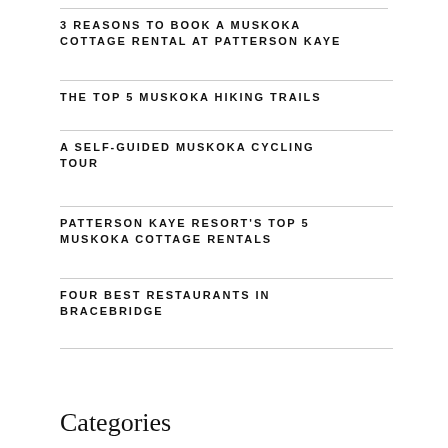3 REASONS TO BOOK A MUSKOKA COTTAGE RENTAL AT PATTERSON KAYE
THE TOP 5 MUSKOKA HIKING TRAILS
A SELF-GUIDED MUSKOKA CYCLING TOUR
PATTERSON KAYE RESORT'S TOP 5 MUSKOKA COTTAGE RENTALS
FOUR BEST RESTAURANTS IN BRACEBRIDGE
Categories